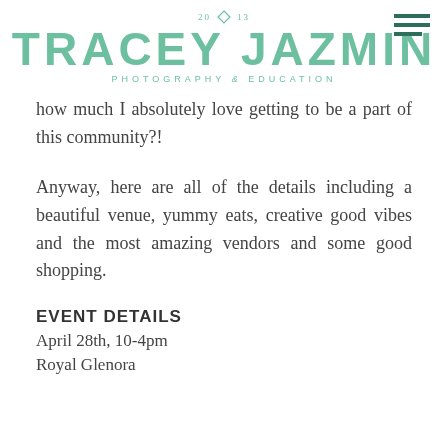20 ◇ 13 TRACEY JAZMIN PHOTOGRAPHY & EDUCATION
how much I absolutely love getting to be a part of this community?!
Anyway, here are all of the details including a beautiful venue, yummy eats, creative good vibes and the most amazing vendors and some good shopping.
EVENT DETAILS
April 28th, 10-4pm
Royal Glenora